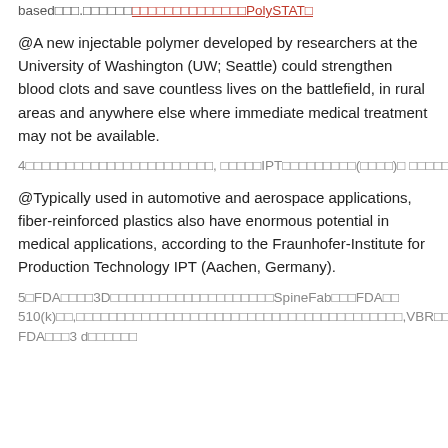based□□□.□□□□□□□□□□□□□□□□□□PolySTAT□
@A new injectable polymer developed by researchers at the University of Washington (UW; Seattle) could strengthen blood clots and save countless lives on the battlefield, in rural areas and anywhere else where immediate medical treatment may not be available.
4□□□□□□□□□□□□□□□□□□□□□□□, □□□□□IPT□□□□□□□□□(□□□□)□ □□□□□□□□□□□□□□□□□□□□□□□□□□,□□□□□□□□□□
@Typically used in automotive and aerospace applications, fiber-reinforced plastics also have enormous potential in medical applications, according to the Fraunhofer-Institute for Production Technology IPT (Aachen, Germany).
5□FDA□□□□3D□□□□□□□□□□□□□□□□□□□□SpineFab□□□FDA□□ 510(k)□□,□□□□□□□□□□□□□□□□□□□□□□□□□□□□□□□□□,VBR□□□□□□□□□□□ FDA□□□3 d□□□□□□